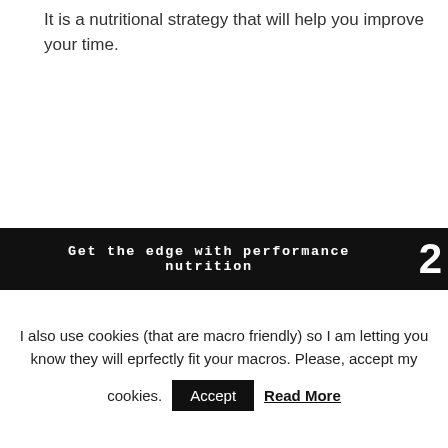It is a nutritional strategy that will help you improve your time.
Get the edge with performance nutrition  2
I also use cookies (that are macro friendly) so I am letting you know they will eprfectly fit your macros. Please, accept my cookies.  Accept  Read More